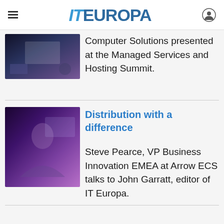IT EUROPA
[Figure (photo): Thumbnail of a presentation at the Managed Services and Hosting Summit, dark blue background]
Computer Solutions presented at the Managed Services and Hosting Summit.
[Figure (photo): Thumbnail of Steve Pearce, VP Business Innovation EMEA at Arrow ECS, purple/violet venue background]
Distribution with a difference
Steve Pearce, VP Business Innovation EMEA at Arrow ECS talks to John Garratt, editor of IT Europa.